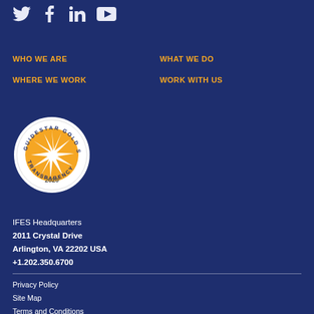[Figure (illustration): Social media icons: Twitter, Facebook, LinkedIn, YouTube in dark navy on dark blue background]
WHO WE ARE
WHAT WE DO
WHERE WE WORK
WORK WITH US
[Figure (logo): GuideStar Gold Seal of Transparency 2020 circular badge with gold star burst on white background]
IFES Headquarters
2011 Crystal Drive
Arlington, VA 22202 USA
+1.202.350.6700
Privacy Policy
Site Map
Terms and Conditions